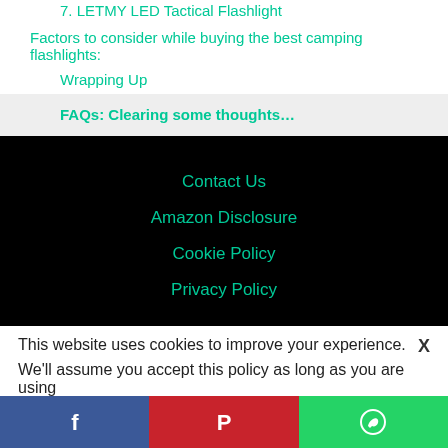7. LETMY LED Tactical Flashlight
Factors to consider while buying the best camping flashlights:
Wrapping Up
FAQs: Clearing some thoughts…
Contact Us
Amazon Disclosure
Cookie Policy
Privacy Policy
This website uses cookies to improve your experience. X
We'll assume you accept this policy as long as you are using